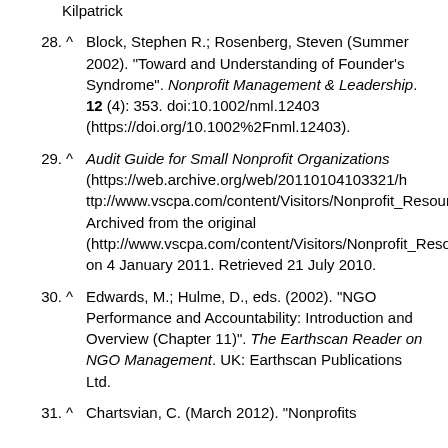Kilpatrick
28. ^ Block, Stephen R.; Rosenberg, Steven (Summer 2002). "Toward and Understanding of Founder's Syndrome". Nonprofit Management & Leadership. 12 (4): 353. doi:10.1002/nml.12403 (https://doi.org/10.1002%2Fnml.12403).
29. ^ Audit Guide for Small Nonprofit Organizations (https://web.archive.org/web/20110104103321/http://www.vscpa.com/content/Visitors/Nonprofit_Resources/Audit_Guide.aspx). Archived from the original (http://www.vscpa.com/content/Visitors/Nonprofit_Resources/Audit_Guide.aspx) on 4 January 2011. Retrieved 21 July 2010.
30. ^ Edwards, M.; Hulme, D., eds. (2002). "NGO Performance and Accountability: Introduction and Overview (Chapter 11)". The Earthscan Reader on NGO Management. UK: Earthscan Publications Ltd.
31. ^ Chartsvian, C. (March 2012). "Nonprofits...